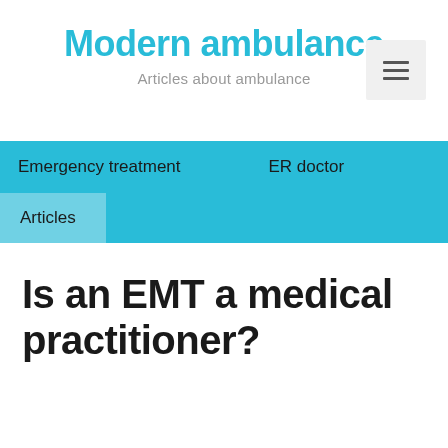Modern ambulance
Articles about ambulance
Emergency treatment
ER doctor
Articles
Is an EMT a medical practitioner?